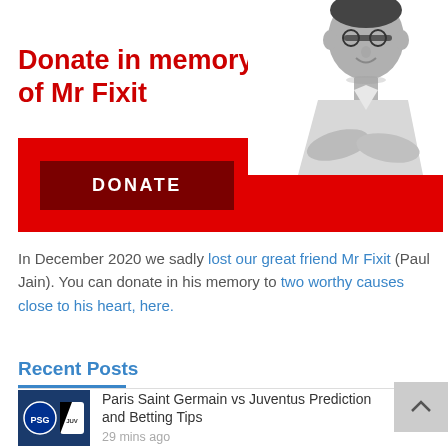[Figure (photo): Banner showing 'Donate in memory of Mr Fixit' text in red on white background, with a grayscale photo of a man with glasses crossing his arms, over a red bar with a dark red DONATE button.]
In December 2020 we sadly lost our great friend Mr Fixit (Paul Jain). You can donate in his memory to two worthy causes close to his heart, here.
Recent Posts
Paris Saint Germain vs Juventus Prediction and Betting Tips
29 mins ago